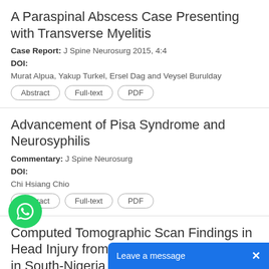A Paraspinal Abscess Case Presenting with Transverse Myelitis
Case Report: J Spine Neurosurg 2015, 4:4
DOI:
Murat Alpua, Yakup Turkel, Ersel Dag and Veysel Burulday
Advancement of Pisa Syndrome and Neurosyphilis
Commentary: J Spine Neurosurg
DOI:
Chi Hsiang Chio
Computed Tomographic Scan Findings in Head Injury from a Tertiary Health Facility in South-Nigeria
Research Article: J Spine Neurosurg 2015, 4:4
DOI:
Emejulu, Jude-Kennedy, Felix Udum...